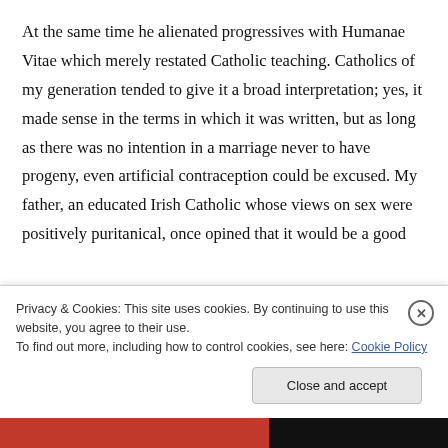At the same time he alienated progressives with Humanae Vitae which merely restated Catholic teaching. Catholics of my generation tended to give it a broad interpretation; yes, it made sense in the terms in which it was written, but as long as there was no intention in a marriage never to have progeny, even artificial contraception could be excused. My father, an educated Irish Catholic whose views on sex were positively puritanical, once opined that it would be a good
Privacy & Cookies: This site uses cookies. By continuing to use this website, you agree to their use.
To find out more, including how to control cookies, see here: Cookie Policy